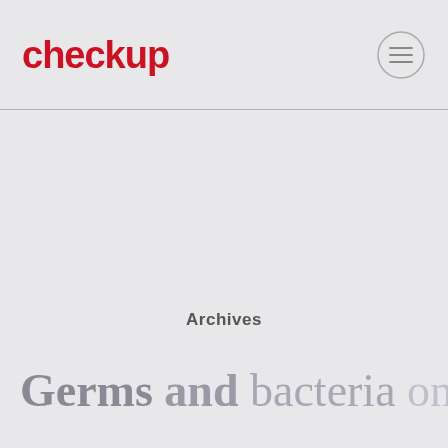checkup
Archives
Germs and bacteria on